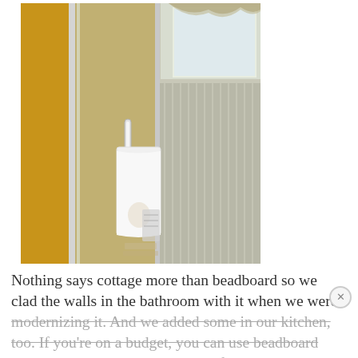[Figure (photo): Interior bathroom photo showing a glass shower enclosure with a chrome handle, a white decorative towel hanging on the door, a curtained window with a valance in the background, yellow/orange wall on the left, and beadboard wainscoting on the right wall.]
Nothing says cottage more than beadboard so we clad the walls in the bathroom with it when we were modernizing it. And we added some in our kitchen, too. If you're on a budget, you can use beadboard wallpaper to get the cottage look for less. You'd never